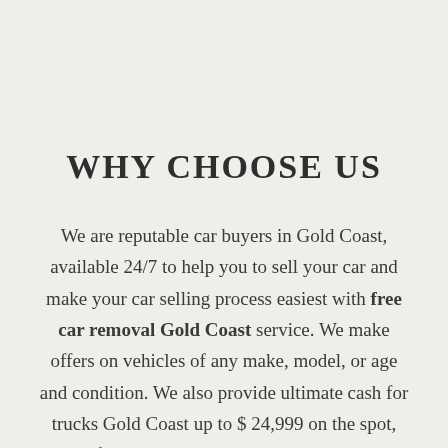WHY CHOOSE US
We are reputable car buyers in Gold Coast, available 24/7 to help you to sell your car and make your car selling process easiest with free car removal Gold Coast service. We make offers on vehicles of any make, model, or age and condition. We also provide ultimate cash for trucks Gold Coast up to $ 24,999 on the spot, Our free car removal Gold Coast service is much faster than any other competitor anywhere in Gold coast. Our expert team members will complete all